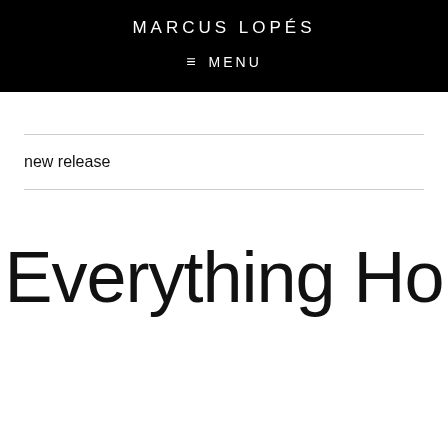MARCUS LOPÉS
≡ MENU
new release
Everything Ho